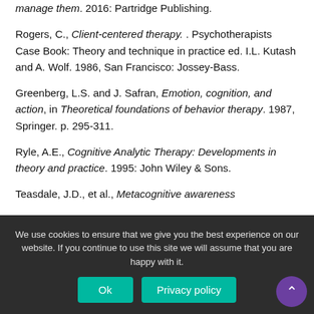manage them. 2016: Partridge Publishing.
Rogers, C., Client-centered therapy. . Psychotherapists Case Book: Theory and technique in practice ed. I.L. Kutash and A. Wolf. 1986, San Francisco: Jossey-Bass.
Greenberg, L.S. and J. Safran, Emotion, cognition, and action, in Theoretical foundations of behavior therapy. 1987, Springer. p. 295-311.
Ryle, A.E., Cognitive Analytic Therapy: Developments in theory and practice. 1995: John Wiley & Sons.
Teasdale, J.D., et al., Metacognitive awareness
We use cookies to ensure that we give you the best experience on our website. If you continue to use this site we will assume that you are happy with it.